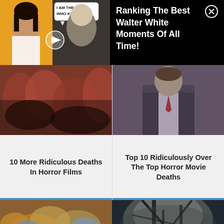[Figure (screenshot): YouTube-style video thumbnail showing a surprised woman and Walter White (Breaking Bad) with speech bubble 'I AM THE ONE WHO KNOCKS', with play button overlay]
Ranking The Best Walter White Moments Of All Time!
[Figure (photo): Blurry crowd/horror scene image for '10 More Ridiculous Deaths In Horror Films']
10 More Ridiculous Deaths In Horror Films
[Figure (photo): Close-up of a man in suit with tie for 'Top 10 Ridiculously Over The Top Horror Movie Deaths']
Top 10 Ridiculously Over The Top Horror Movie Deaths
[Figure (photo): Close-up photo of colorful fish or sea creatures]
[Figure (photo): Dark atmospheric image, possibly trees or abstract horror scene]